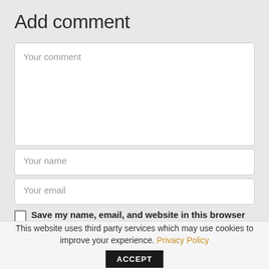Add comment
Your comment
Your name
Your email
Save my name, email, and website in this browser for the next time I comment.
This website uses third party services which may use cookies to improve your experience. Privacy Policy ACCEPT